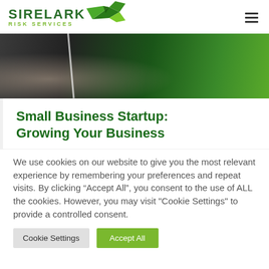SIRELARK RISK SERVICES
[Figure (photo): Hero image showing business meeting / office scene with green corporate branding elements]
Small Business Startup: Growing Your Business
We use cookies on our website to give you the most relevant experience by remembering your preferences and repeat visits. By clicking “Accept All”, you consent to the use of ALL the cookies. However, you may visit "Cookie Settings" to provide a controlled consent.
Cookie Settings | Accept All